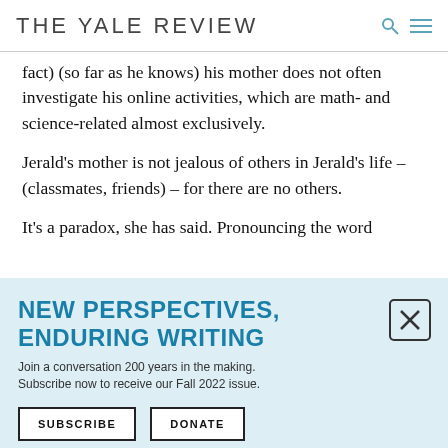THE YALE REVIEW
fact) (so far as he knows) his mother does not often investigate his online activities, which are math- and science-related almost exclusively.
Jerald’s mother is not jealous of others in Jerald’s life – (classmates, friends) – for there are no others.
It’s a paradox, she has said. Pronouncing the word
NEW PERSPECTIVES, ENDURING WRITING
Join a conversation 200 years in the making. Subscribe now to receive our Fall 2022 issue.